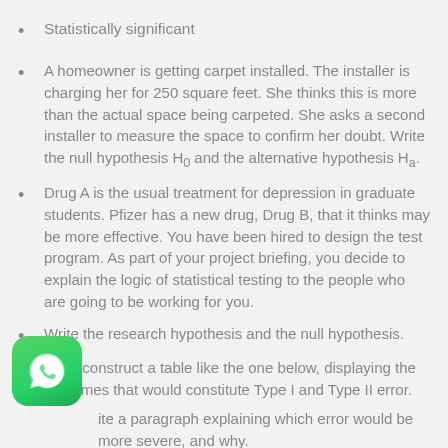Statistically significant
A homeowner is getting carpet installed. The installer is charging her for 250 square feet. She thinks this is more than the actual space being carpeted. She asks a second installer to measure the space to confirm her doubt. Write the null hypothesis H₀ and the alternative hypothesis Hₐ.
Drug A is the usual treatment for depression in graduate students. Pfizer has a new drug, Drug B, that it thinks may be more effective. You have been hired to design the test program. As part of your project briefing, you decide to explain the logic of statistical testing to the people who are going to be working for you.
Write the research hypothesis and the null hypothesis.
Then construct a table like the one below, displaying the outcomes that would constitute Type I and Type II error.
Write a paragraph explaining which error would be more severe, and why.